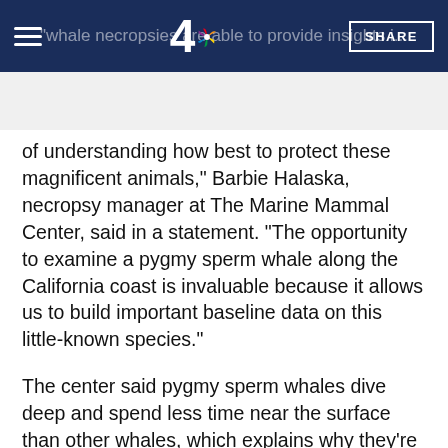"whale necropsies are able to provide insights i... | SHARE
of understanding how best to protect these magnificent animals," Barbie Halaska, necropsy manager at The Marine Mammal Center, said in a statement. "The opportunity to examine a pygmy sperm whale along the California coast is invaluable because it allows us to build important baseline data on this little-known species."
The center said pygmy sperm whales dive deep and spend less time near the surface than other whales, which explains why they're hardly ever seen.
This article tagged under: